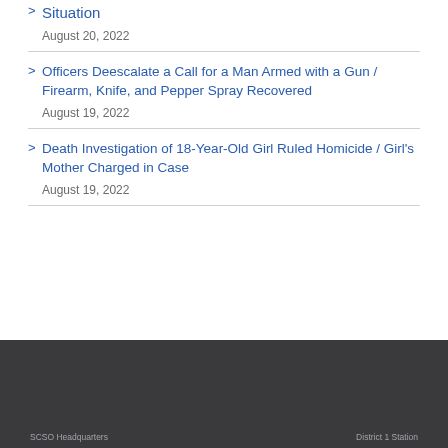Situation
August 20, 2022
Officers Deescalate a Call for a Man Armed with a Gun / Firearm, Knife, and Pepper Spray Recovered
August 19, 2022
Death Investigation of 18-Year-Old Girl Ruled Homicide / Girl's Mother Charged in Case
August 19, 2022
SCSO Headquarters    District 1 Station